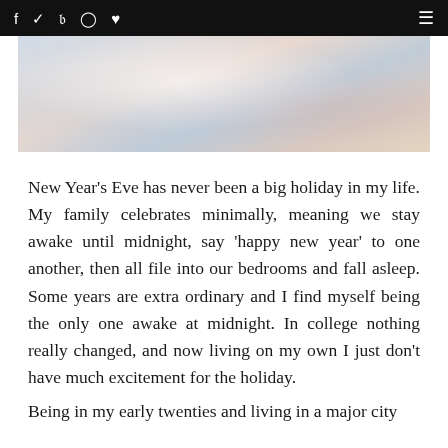f  ✓  p  ⊙  ♥  ≡
[Figure (photo): Close-up blurred photo of champagne glasses or glassware on a table, soft pastel tones of blue, pink, and cream]
New Year's Eve has never been a big holiday in my life. My family celebrates minimally, meaning we stay awake until midnight, say 'happy new year' to one another, then all file into our bedrooms and fall asleep. Some years are extra ordinary and I find myself being the only one awake at midnight. In college nothing really changed, and now living on my own I just don't have much excitement for the holiday.
Being in my early twenties and living in a major city